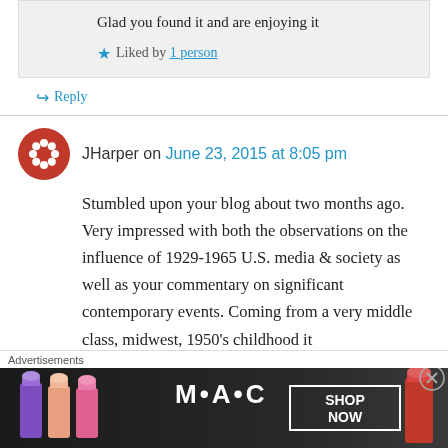Glad you found it and are enjoying it
Liked by 1 person
Reply
JHarper on June 23, 2015 at 8:05 pm
Stumbled upon your blog about two months ago. Very impressed with both the observations on the influence of 1929-1965 U.S. media & society as well as your commentary on significant contemporary events. Coming from a very middle class, midwest, 1950's childhood it
Advertisements
[Figure (photo): MAC cosmetics advertisement showing lipsticks with SHOP NOW text]